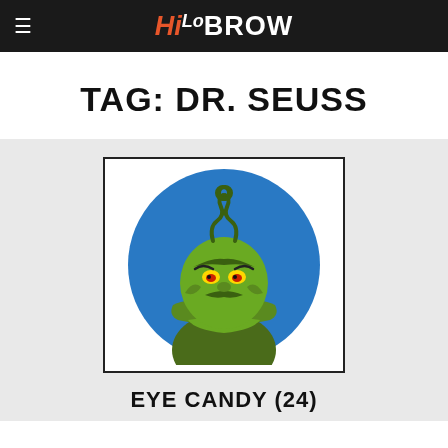HiLoBROW
TAG: DR. SEUSS
[Figure (illustration): Illustrated cartoon image of the Grinch character from Dr. Seuss, shown from the waist up inside a blue circle. The Grinch is green, has a menacing expression with red eyes and a scowl, arms crossed, with curly antennae on top of his head. Displayed inside a white box with a black border.]
EYE CANDY (24)